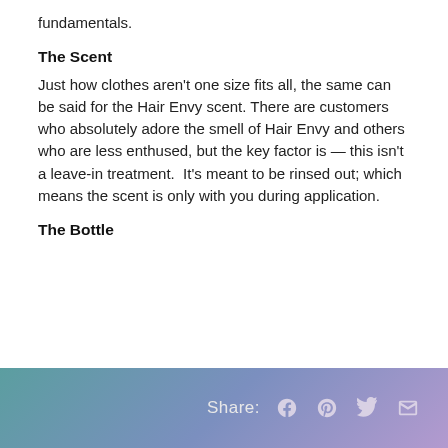fundamentals.
The Scent
Just how clothes aren't one size fits all, the same can be said for the Hair Envy scent. There are customers who absolutely adore the smell of Hair Envy and others who are less enthused, but the key factor is — this isn't a leave-in treatment.  It's meant to be rinsed out; which means the scent is only with you during application.
The Bottle
Share: